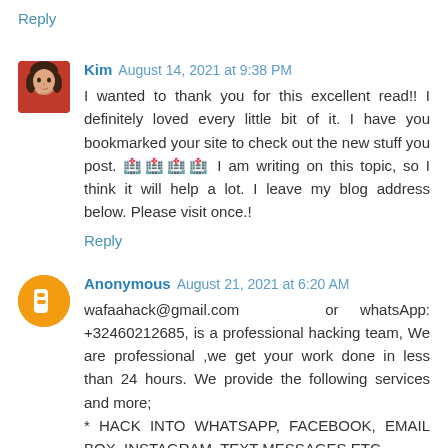Reply
Kim August 14, 2021 at 9:38 PM
I wanted to thank you for this excellent read!! I definitely loved every little bit of it. I have you bookmarked your site to check out the new stuff you post. 🏥🏥🏥🏥 I am writing on this topic, so I think it will help a lot. I leave my blog address below. Please visit once.!
Reply
Anonymous August 21, 2021 at 6:20 AM
wafaahack@gmail.com   or whatsApp: +32460212685, is a professional hacking team, We are professional ,we get your work done in less than 24 hours. We provide the following services and more;
* HACK INTO WHATSAPP, FACEBOOK, EMAIL BOX, INSTAGRAM, TEXT MESSAGES ETC.
* RECOVER YOUR MONEY FROM ANY KIND OF SCAMMERS.